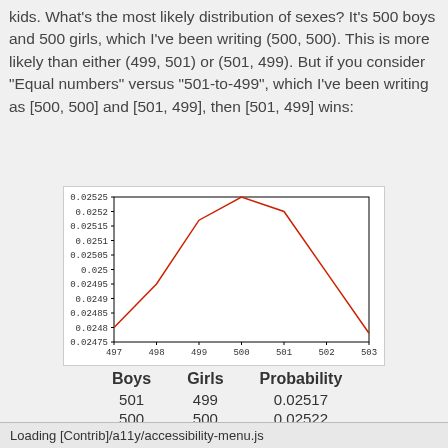kids. What's the most likely distribution of sexes? It's 500 boys and 500 girls, which I've been writing (500, 500). This is more likely than either (499, 501) or (501, 499). But if you consider "Equal numbers" versus "501-to-499", which I've been writing as [500, 500] and [501, 499], then [501, 499] wins:
[Figure (continuous-plot): Line chart showing probability distribution with x-axis from 497 to 503 (number of boys) and y-axis from 0.02475 to 0.02525. The red curve peaks at x=500 with value ~0.02525, and is lower at x=501 (~0.0252). The shape is a smooth bell-like curve.]
| Boys | Girls | Probability |
| --- | --- | --- |
| 501 | 499 | 0.02517 |
| 500 | 500 | 0.02522 |
Loading [Contrib]/a11y/accessibility-menu.js